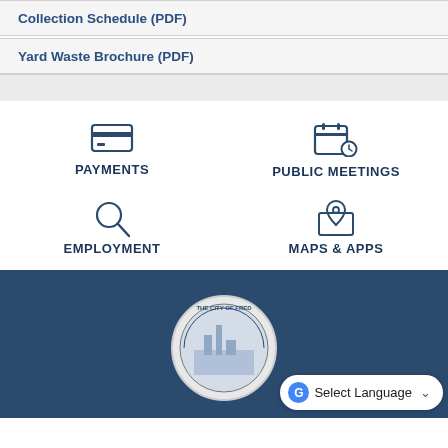Collection Schedule (PDF)
Yard Waste Brochure (PDF)
[Figure (infographic): Four navigation icons in a 2x2 grid: Payments (credit card icon), Public Meetings (calendar with clock icon), Employment (magnifying glass icon), Maps & Apps (map pin with map icon)]
[Figure (logo): City of Frederick seal/logo at bottom center on dark navy footer]
Select Language